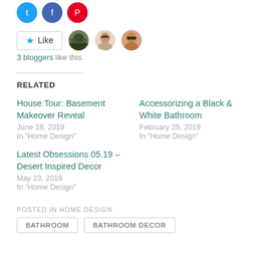[Figure (infographic): Social share icons: Twitter (blue circle), Facebook (blue circle), Pinterest (red circle)]
[Figure (infographic): Like button widget with star icon and 3 blogger avatar photos]
3 bloggers like this.
RELATED
House Tour: Basement Makeover Reveal
June 18, 2019
In "Home Design"
Accessorizing a Black & White Bathroom
February 25, 2019
In "Home Design"
Latest Obsessions 05.19 – Desert Inspired Decor
May 23, 2019
In "Home Design"
POSTED IN HOME DESIGN
BATHROOM   BATHROOM DECOR